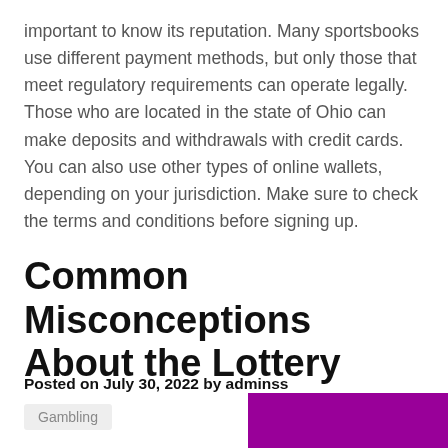important to know its reputation. Many sportsbooks use different payment methods, but only those that meet regulatory requirements can operate legally. Those who are located in the state of Ohio can make deposits and withdrawals with credit cards. You can also use other types of online wallets, depending on your jurisdiction. Make sure to check the terms and conditions before signing up.
Common Misconceptions About the Lottery
Posted on July 30, 2022 by adminss
Gambling
[Figure (other): Partial magenta/purple colored image block at bottom right corner]